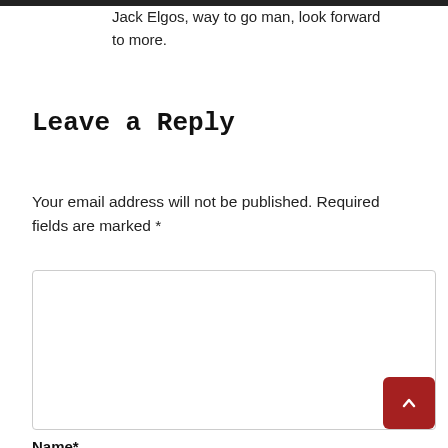Jack Elgos, way to go man, look forward to more.
Leave a Reply
Your email address will not be published. Required fields are marked *
[Figure (other): Empty text area input box for comment]
Name*